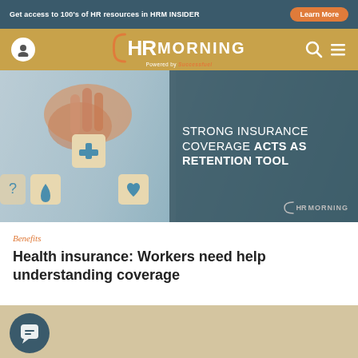Get access to 100's of HR resources in HRM INSIDER
[Figure (screenshot): HRMorning website navigation bar with logo, search and menu icons on gold background]
[Figure (photo): Hero image showing hands placing wooden blocks with medical icons (cross, water drop, heart) with text overlay: STRONG INSURANCE COVERAGE ACTS AS RETENTION TOOL. HRMorning logo in corner.]
Benefits
Health insurance: Workers need help understanding coverage
[Figure (other): Chat/comment button icon on tan background]